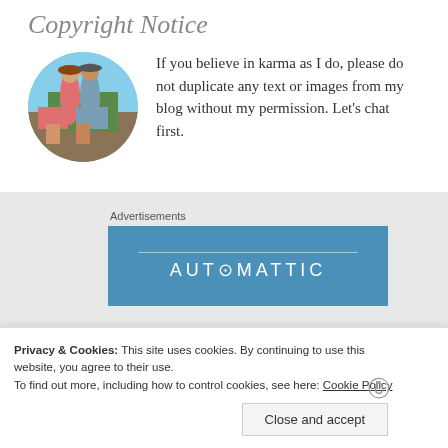Copyright Notice
[Figure (photo): Circular profile photo of two people standing outdoors on a rocky area with trees and blue sky in background]
If you believe in karma as I do, please do not duplicate any text or images from my blog without my permission. Let's chat first.
Advertisements
[Figure (logo): Automattic advertisement banner with blue background and AUTOMATTIC text in white letters]
Privacy & Cookies: This site uses cookies. By continuing to use this website, you agree to their use.
To find out more, including how to control cookies, see here: Cookie Policy
Close and accept